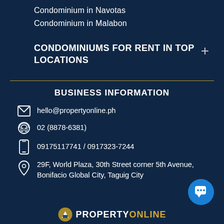Condominium in Navotas
Condominium in Malabon
CONDOMINIUMS FOR RENT IN TOP LOCATIONS
BUSINESS INFORMATION
hello@propertyonline.ph
02 (8878-6381)
09175117741 / 0917323-7244
29F, World Plaza, 30th Street corner 5th Avenue, Bonifacio Global City, Taguig City
PROPERTYONLINE